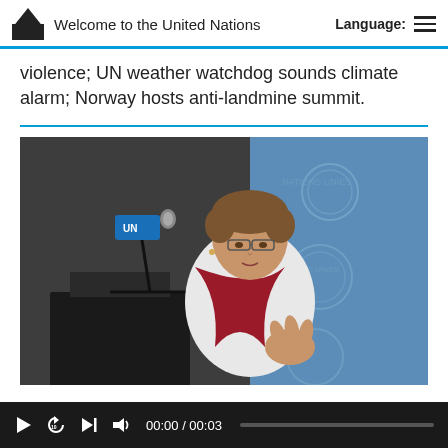Welcome to the United Nations | Language:
violence; UN weather watchdog sounds climate alarm; Norway hosts anti-landmine summit.
[Figure (photo): A woman in a white jacket and red scarf speaks at a podium with a UN microphone, with a blue UN backdrop behind her.]
00:00 / 00:03 video controls bar